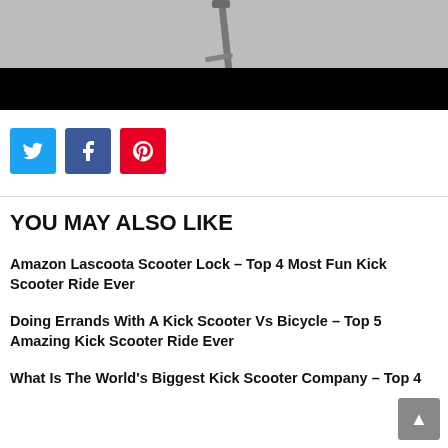[Figure (photo): A scooter handlebar photographed from above against a light gray background. The bottom portion of the image is overlaid with a black bar.]
[Figure (infographic): Social sharing buttons: Twitter (blue), Facebook (dark blue), Pinterest (red)]
YOU MAY ALSO LIKE
Amazon Lascoota Scooter Lock – Top 4 Most Fun Kick Scooter Ride Ever
Doing Errands With A Kick Scooter Vs Bicycle – Top 5 Amazing Kick Scooter Ride Ever
What Is The World's Biggest Kick Scooter Company – Top 4